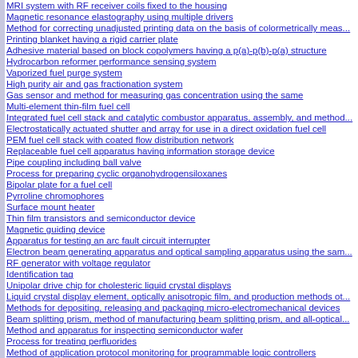MRI system with RF receiver coils fixed to the housing
Magnetic resonance elastography using multiple drivers
Method for correcting unadjusted printing data on the basis of colormetrically meas...
Printing blanket having a rigid carrier plate
Adhesive material based on block copolymers having a p(a)-p(b)-p(a) structure
Hydrocarbon reformer performance sensing system
Vaporized fuel purge system
High purity air and gas fractionation system
Gas sensor and method for measuring gas concentration using the same
Multi-element thin-film fuel cell
Integrated fuel cell stack and catalytic combustor apparatus, assembly, and method
Electrostatically actuated shutter and array for use in a direct oxidation fuel cell
PEM fuel cell stack with coated flow distribution network
Replaceable fuel cell apparatus having information storage device
Pipe coupling including ball valve
Process for preparing cyclic organohydrogensiloxanes
Bipolar plate for a fuel cell
Pyrroline chromophores
Surface mount heater
Thin film transistors and semiconductor device
Magnetic guiding device
Apparatus for testing an arc fault circuit interrupter
Electron beam generating apparatus and optical sampling apparatus using the same
RF generator with voltage regulator
Identification tag
Unipolar drive chip for cholesteric liquid crystal displays
Liquid crystal display element, optically anisotropic film, and production methods of...
Methods for depositing, releasing and packaging micro-electromechanical devices
Beam splitting prism, method of manufacturing beam splitting prism, and all-optical...
Method and apparatus for inspecting semiconductor wafer
Process for treating perfluorides
Method of application protocol monitoring for programmable logic controllers
Tire rotation assisting apparatus
Image layout device
Mass spectrometer
Cell phone booth
Ink jet liquid injector
Weak edge repositioning in a MRC segmenter